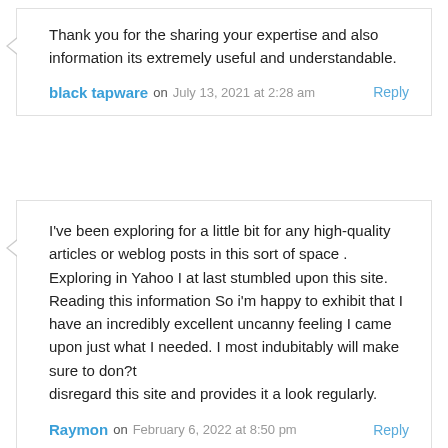Thank you for the sharing your expertise and also information its extremely useful and understandable.
black tapware on July 13, 2021 at 2:28 am
Reply
I've been exploring for a little bit for any high-quality articles or weblog posts in this sort of space . Exploring in Yahoo I at last stumbled upon this site. Reading this information So i'm happy to exhibit that I have an incredibly excellent uncanny feeling I came upon just what I needed. I most indubitably will make sure to don?t
disregard this site and provides it a look regularly.
Raymon on February 6, 2022 at 8:50 pm
Reply